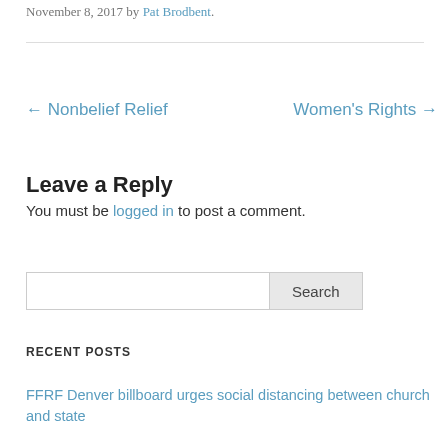November 8, 2017 by Pat Brodbent.
← Nonbelief Relief    Women's Rights →
Leave a Reply
You must be logged in to post a comment.
[Figure (other): Search input field and Search button]
RECENT POSTS
FFRF Denver billboard urges social distancing between church and state